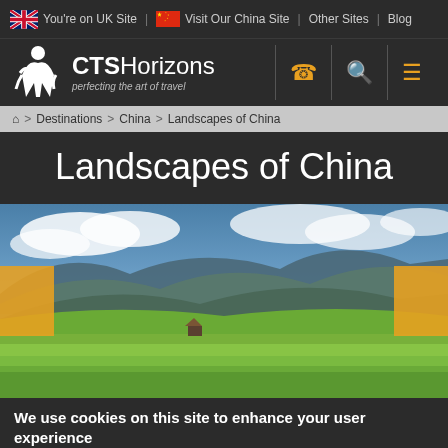You're on UK Site | Visit Our China Site | Other Sites | Blog
[Figure (logo): CTS Horizons logo with traveller figure — perfecting the art of travel]
Destinations > China > Landscapes of China
Landscapes of China
[Figure (photo): Scenic landscape photo of terraced rice fields in China with mountains and cloudy sky in background]
We use cookies on this site to enhance your user experience